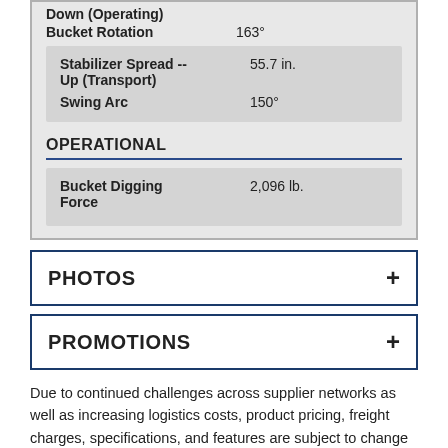| Down (Operating) |  |
| Bucket Rotation | 163° |
| Stabilizer Spread -- Up (Transport) | 55.7 in. |
| Swing Arc | 150° |
| OPERATIONAL |  |
| Bucket Digging Force | 2,096 lb. |
PHOTOS
PROMOTIONS
Due to continued challenges across supplier networks as well as increasing logistics costs, product pricing, freight charges, specifications, and features are subject to change at any time without prior notice. Please confirm all information with your local dealership.